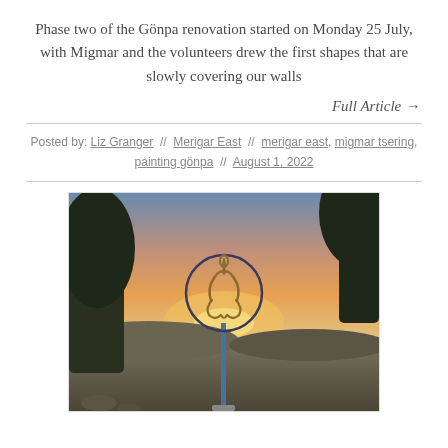Phase two of the Gönpa renovation started on Monday 25 July, with Migmar and the volunteers drew the first shapes that are slowly covering our walls
Full Article →
Posted by: Liz Granger // Merigar East // merigar east, migmar tsering, painting gönpa // August 1, 2022
[Figure (photo): Outdoor photo at sunset showing a circular metal sculpture/sign with a Tibetan or Dzogchen symbol on a pole, set against an orange and pink sky, with trees and rolling hills in the background.]